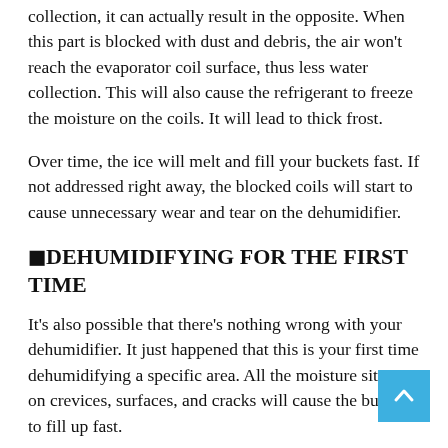collection, it can actually result in the opposite. When this part is blocked with dust and debris, the air won't reach the evaporator coil surface, thus less water collection. This will also cause the refrigerant to freeze the moisture on the coils. It will lead to thick frost.
Over time, the ice will melt and fill your buckets fast. If not addressed right away, the blocked coils will start to cause unnecessary wear and tear on the dehumidifier.
🔵DEHUMIDIFYING FOR THE FIRST TIME
It's also possible that there's nothing wrong with your dehumidifier. It just happened that this is your first time dehumidifying a specific area. All the moisture sitting on crevices, surfaces, and cracks will cause the bucket to fill up fast.
Even if the place looks dry, hidden leaks and water damage harbor a lot of moisture. Take note that such moisture left for